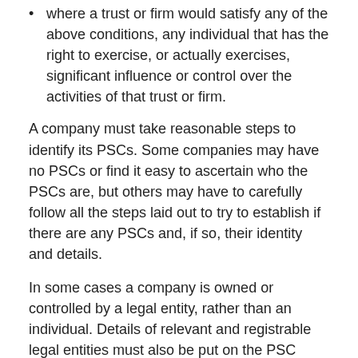where a trust or firm would satisfy any of the above conditions, any individual that has the right to exercise, or actually exercises, significant influence or control over the activities of that trust or firm.
A company must take reasonable steps to identify its PSCs. Some companies may have no PSCs or find it easy to ascertain who the PSCs are, but others may have to carefully follow all the steps laid out to try to establish if there are any PSCs and, if so, their identity and details.
In some cases a company is owned or controlled by a legal entity, rather than an individual. Details of relevant and registrable legal entities must also be put on the PSC register. An entity that owns or controls a company is relevant if it keeps its own PSC register or has voting shares admitted to trading in certain markets (eg it is listed on the London Stock Exchange).
What information is